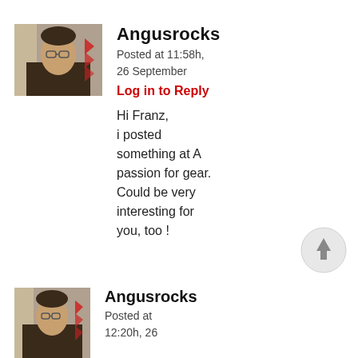[Figure (photo): Profile photo of user Angusrocks - man with glasses, brown sweater, indoors]
Angusrocks
Posted at 11:58h, 26 September
Log in to Reply
Hi Franz,
i posted something at A passion for gear. Could be very interesting for you, too !
[Figure (photo): Profile photo of user Angusrocks - same photo, smaller]
Angusrocks
Posted at
12:20h, 26